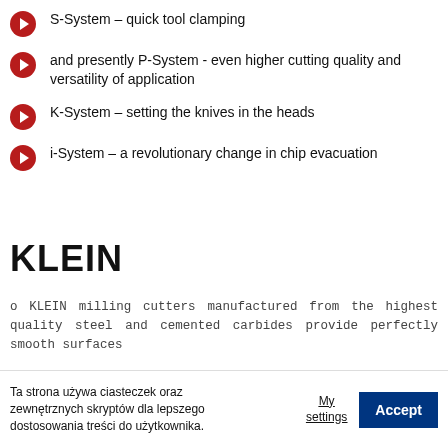S-System – quick tool clamping
and presently P-System - even higher cutting quality and versatility of application
K-System – setting the knives in the heads
i-System – a revolutionary change in chip evacuation
KLEIN
o KLEIN milling cutters manufactured from the highest quality steel and cemented carbides provide perfectly smooth surfaces
Ta strona używa ciasteczek oraz zewnętrznych skryptów dla lepszego dostosowania treści do użytkownika.
My settings
Accept